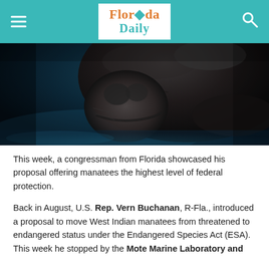Florida Daily
[Figure (photo): Close-up underwater photograph of a manatee, dark teal water background, showing the manatee's face and body from below.]
This week, a congressman from Florida showcased his proposal offering manatees the highest level of federal protection.
Back in August, U.S. Rep. Vern Buchanan, R-Fla., introduced a proposal to move West Indian manatees from threatened to endangered status under the Endangered Species Act (ESA). This week he stopped by the Mote Marine Laboratory and